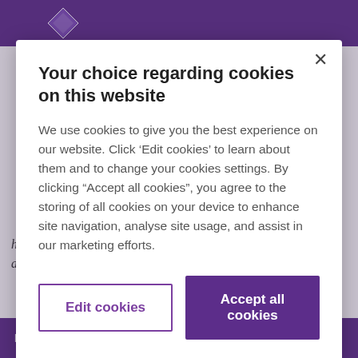[Figure (screenshot): Background website page with purple header bar, logo, and body text about hazardous conditions and housing authorities, partially obscured by cookie consent modal overlay.]
Your choice regarding cookies on this website
We use cookies to give you the best experience on our website. Click ‘Edit cookies’ to learn about them and to change your cookies settings. By clicking “Accept all cookies”, you agree to the storing of all cookies on your device to enhance site navigation, analyse site usage, and assist in our marketing efforts.
Edit cookies
Accept all cookies